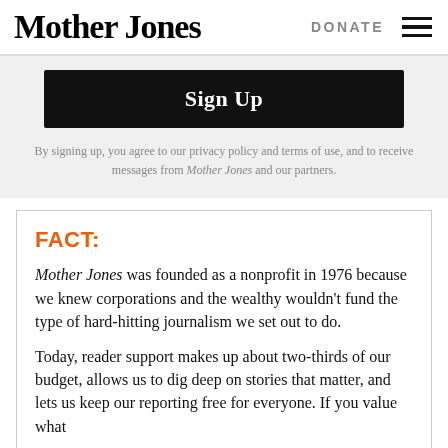Mother Jones | DONATE
Sign Up
By signing up, you agree to our privacy policy and terms of use, and to receive messages from Mother Jones and our partners.
FACT:
Mother Jones was founded as a nonprofit in 1976 because we knew corporations and the wealthy wouldn't fund the type of hard-hitting journalism we set out to do.
Today, reader support makes up about two-thirds of our budget, allows us to dig deep on stories that matter, and lets us keep our reporting free for everyone. If you value what